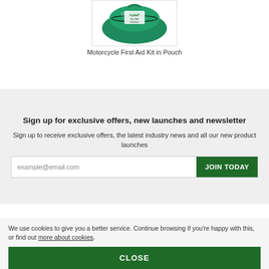[Figure (photo): Motorcycle First Aid Kit in a green zippered pouch]
Motorcycle First Aid Kit in Pouch
Sign up for exclusive offers, new launches and newsletter
Sign up to receive exclusive offers, the latest industry news and all our new product launches
example@email.com
JOIN TODAY
We use cookies to give you a better service. Continue browsing if you're happy with this, or find out more about cookies.
CLOSE